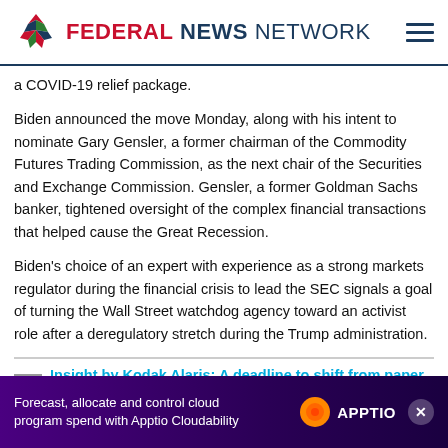Federal News Network
a COVID-19 relief package.
Biden announced the move Monday, along with his intent to nominate Gary Gensler, a former chairman of the Commodity Futures Trading Commission, as the next chair of the Securities and Exchange Commission. Gensler, a former Goldman Sachs banker, tightened oversight of the complex financial transactions that helped cause the Great Recession.
Biden's choice of an expert with experience as a strong markets regulator during the financial crisis to lead the SEC signals a goal of turning the Wall Street watchdog agency toward an activist role after a deregulatory stretch during the Trump administration.
Insight by Kodak Alaris: A deadline to shift from paper to electronic...under...digit...
[Figure (screenshot): Advertisement banner: Forecast, allocate and control cloud program spend with Apptio Cloudability, with Apptio logo and orange circle graphic on purple background.]